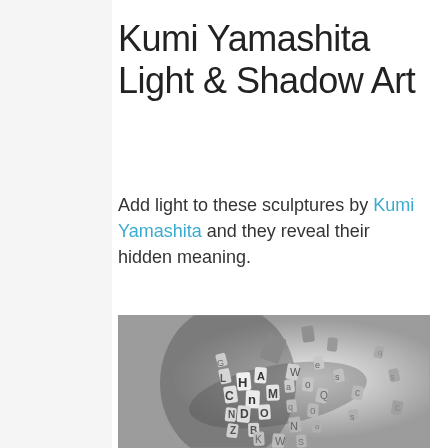Kumi Yamashita Light & Shadow Art
Add light to these sculptures by Kumi Yamashita and they reveal their hidden meaning.
[Figure (photo): Black and white photograph of a Kumi Yamashita sculpture: white letter tiles arranged to form a human head silhouette profile, casting a shadow. Letters are scattered outward from the silhouette, floating in space against a light background.]